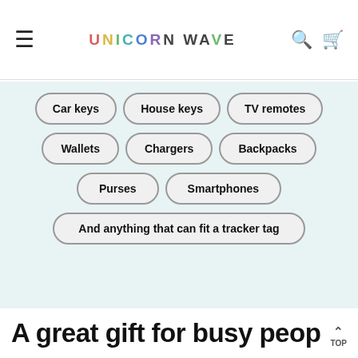UNICORN WAVE
Car keys
House keys
TV remotes
Wallets
Chargers
Backpacks
Purses
Smartphones
And anything that can fit a tracker tag
A great gift for busy peop